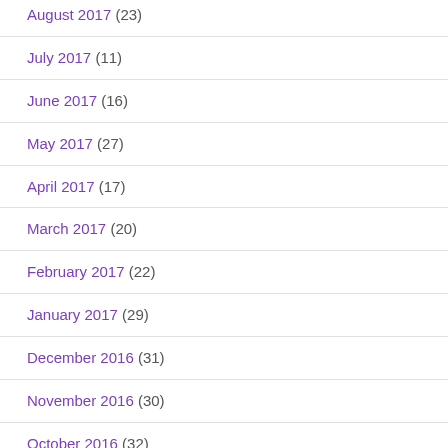August 2017 (23)
July 2017 (11)
June 2017 (16)
May 2017 (27)
April 2017 (17)
March 2017 (20)
February 2017 (22)
January 2017 (29)
December 2016 (31)
November 2016 (30)
October 2016 (32)